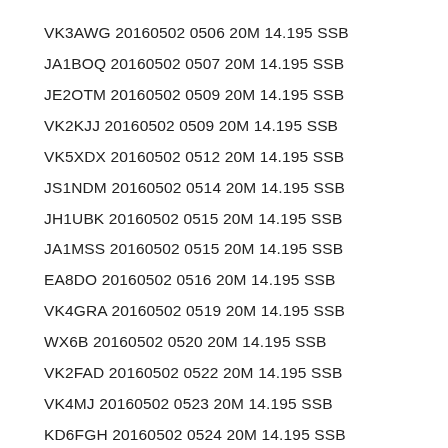VK3AWG 20160502 0506 20M 14.195 SSB
JA1BOQ 20160502 0507 20M 14.195 SSB
JE2OTM 20160502 0509 20M 14.195 SSB
VK2KJJ 20160502 0509 20M 14.195 SSB
VK5XDX 20160502 0512 20M 14.195 SSB
JS1NDM 20160502 0514 20M 14.195 SSB
JH1UBK 20160502 0515 20M 14.195 SSB
JA1MSS 20160502 0515 20M 14.195 SSB
EA8DO 20160502 0516 20M 14.195 SSB
VK4GRA 20160502 0519 20M 14.195 SSB
WX6B 20160502 0520 20M 14.195 SSB
VK2FAD 20160502 0522 20M 14.195 SSB
VK4MJ 20160502 0523 20M 14.195 SSB
KD6FGH 20160502 0524 20M 14.195 SSB
VK3UY 20160502 0526 20M 14.195 SSB
VK2WJD 20160502 0527 20M 14.195 SSB
ZL8IAC 20160502 0527 20M 14.195 SSB